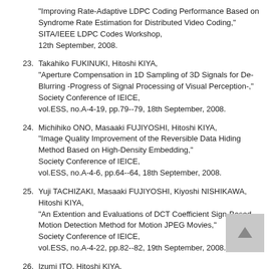"Improving Rate-Adaptive LDPC Coding Performance Based on Syndrome Rate Estimation for Distributed Video Coding," SITA/IEEE LDPC Codes Workshop, 12th September, 2008.
23. Takahiko FUKINUKI, Hitoshi KIYA, "Aperture Compensation in 1D Sampling of 3D Signals for De-Blurring -Progress of Signal Processing of Visual Perception-," Society Conference of IEICE, vol.ESS, no.A-4-19, pp.79--79, 18th September, 2008.
24. Michihiko ONO, Masaaki FUJIYOSHI, Hitoshi KIYA, "Image Quality Improvement of the Reversible Data Hiding Method Based on High-Density Embedding," Society Conference of IEICE, vol.ESS, no.A-4-6, pp.64--64, 18th September, 2008.
25. Yuji TACHIZAKI, Masaaki FUJIYOSHI, Kiyoshi NISHIKAWA, Hitoshi KIYA, "An Extention and Evaluations of DCT Coefficient Sign-Based Motion Detection Method for Motion JPEG Movies," Society Conference of IEICE, vol.ESS, no.A-4-22, pp.82--82, 19th September, 2008.
26. Izumi ITO, Hitoshi KIYA, "Image Matching Using Generalized Phase Scrambling...